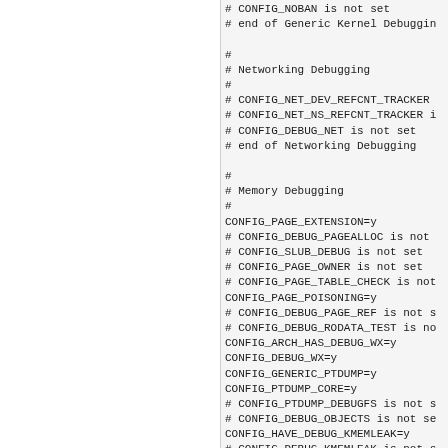# CONFIG_NOBAN is not set
# end of Generic Kernel Debugging
#
# Networking Debugging
#
# CONFIG_NET_DEV_REFCNT_TRACKER
# CONFIG_NET_NS_REFCNT_TRACKER i
# CONFIG_DEBUG_NET is not set
# end of Networking Debugging
#
# Memory Debugging
#
CONFIG_PAGE_EXTENSION=y
# CONFIG_DEBUG_PAGEALLOC is not
# CONFIG_SLUB_DEBUG is not set
# CONFIG_PAGE_OWNER is not set
# CONFIG_PAGE_TABLE_CHECK is not
CONFIG_PAGE_POISONING=y
# CONFIG_DEBUG_PAGE_REF is not s
# CONFIG_DEBUG_RODATA_TEST is no
CONFIG_ARCH_HAS_DEBUG_WX=y
CONFIG_DEBUG_WX=y
CONFIG_GENERIC_PTDUMP=y
CONFIG_PTDUMP_CORE=y
# CONFIG_PTDUMP_DEBUGFS is not s
# CONFIG_DEBUG_OBJECTS is not se
CONFIG_HAVE_DEBUG_KMEMLEAK=y
# CONFIG_DEBUG_KMEMLEAK is not s
# CONFIG_DEBUG_STACK_USAGE is no
# CONFIG_SCHED_STACK_END_CHECK i
CONFIG_ARCH_HAS_DEBUG_VM_PGTABLE